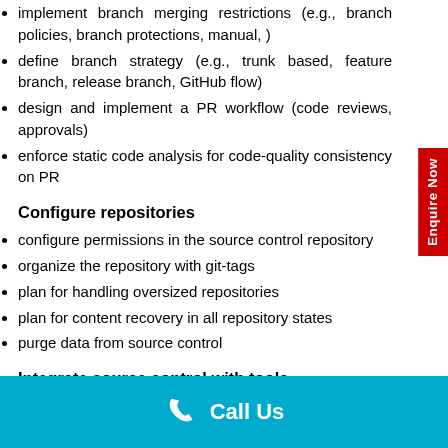implement branch merging restrictions (e.g., branch policies, branch protections, manual, )
define branch strategy (e.g., trunk based, feature branch, release branch, GitHub flow)
design and implement a PR workflow (code reviews, approvals)
enforce static code analysis for code-quality consistency on PR
Configure repositories
configure permissions in the source control repository
organize the repository with git-tags
plan for handling oversized repositories
plan for content recovery in all repository states
purge data from source control
Integrate source control with tools
integrate GitHub with DevOps pipelines…